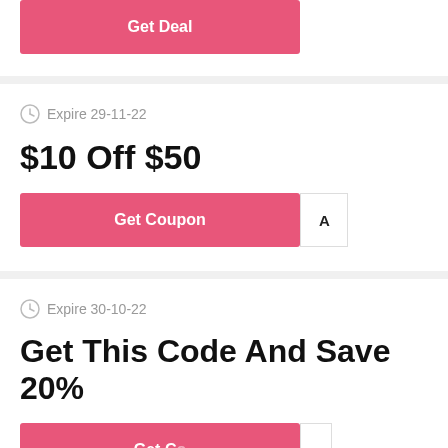[Figure (screenshot): Pink 'Get Deal' button at top of page, partially visible]
Expire 29-11-22
$10 Off $50
[Figure (screenshot): Pink 'Get Coupon' button with partial code box showing 'A']
Expire 30-10-22
Get This Code And Save 20%
[Figure (screenshot): Pink 'Get Coupon' button partially visible at bottom]